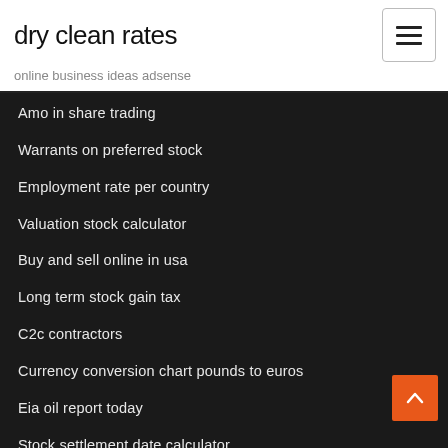dry clean rates
online business ideas adsense
Amo in share trading
Warrants on preferred stock
Employment rate per country
Valuation stock calculator
Buy and sell online in usa
Long term stock gain tax
C2c contractors
Currency conversion chart pounds to euros
Eia oil report today
Stock settlement date calculator